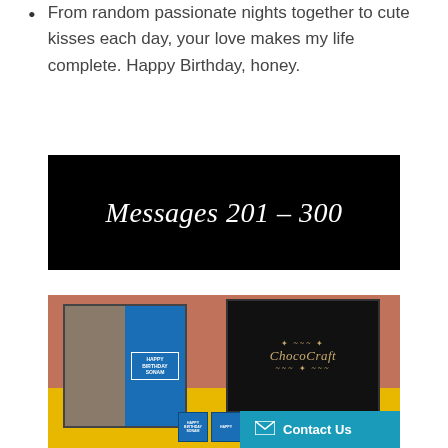From random passionate nights together to cute kisses each day, your love makes my life complete. Happy Birthday, honey.
Messages 201 - 300
[Figure (photo): Photo of ChocoCraft personalized birthday chocolate gift boxes with a woman's portrait on one box and ChocoCraft branded chocolate squares in another black box, yellow base background with terracotta/rust colored backdrop.]